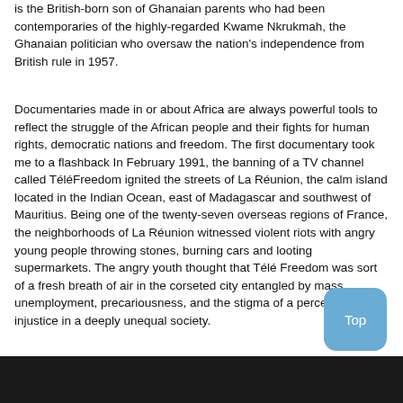is the British-born son of Ghanaian parents who had been contemporaries of the highly-regarded Kwame Nkrukmah, the Ghanaian politician who oversaw the nation's independence from British rule in 1957.
Documentaries made in or about Africa are always powerful tools to reflect the struggle of the African people and their fights for human rights, democratic nations and freedom. The first documentary took me to a flashback In February 1991, the banning of a TV channel called TéléFreedom ignited the streets of La Réunion, the calm island located in the Indian Ocean, east of Madagascar and southwest of Mauritius. Being one of the twenty-seven overseas regions of France, the neighborhoods of La Réunion witnessed violent riots with angry young people throwing stones, burning cars and looting supermarkets. The angry youth thought that Télé Freedom was sort of a fresh breath of air in the corseted city entangled by mass unemployment, precariousness, and the stigma of a perceived injustice in a deeply unequal society.
[Figure (photo): Dark image at the bottom of the page, appears to be a dark/nighttime scene]